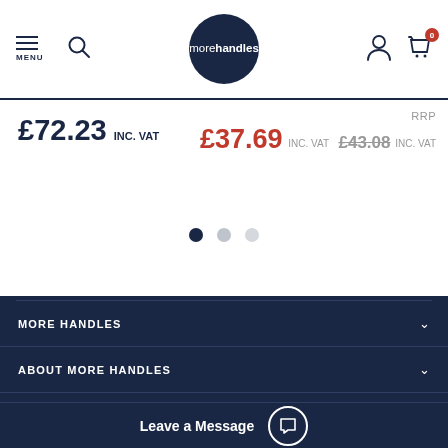morehandles — navigation header with MENU, search, logo, account and cart (0)
£72.23 INC. VAT
RRP £37.69 INC. VAT £43.08 INC. VAT
[Figure (other): Three pagination dots — one dark navy (active), one light grey, one lighter grey]
MORE HANDLES
ABOUT MORE HANDLES
INFORMATION & SUPPORT
Leave a Message